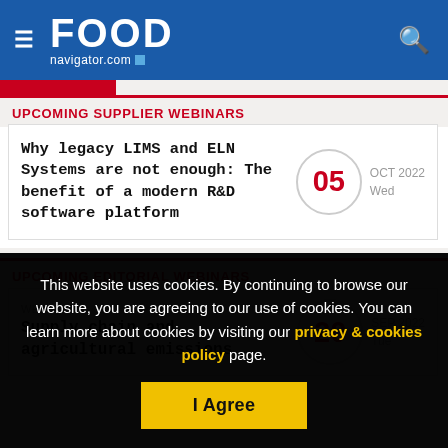FOOD navigator.com
UPCOMING SUPPLIER WEBINARS
Why legacy LIMS and ELN Systems are not enough: The benefit of a modern R&D software platform — 05 OCT 2022 Wed
UPCOMING EDITORIAL WEBINARS
WEBINAR — Supply chain and agricultural emissions — 20 SEP 2022 Tue
This website uses cookies. By continuing to browse our website, you are agreeing to our use of cookies. You can learn more about cookies by visiting our privacy & cookies policy page.